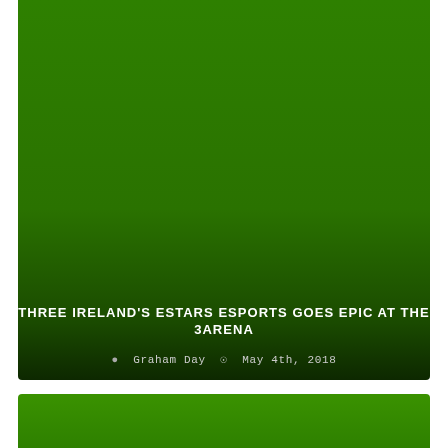[Figure (photo): Large green gradient image card (dark green background fading to near-black at bottom) occupying the upper most of the page]
THREE IRELAND'S ESTARS ESPORTS GOES EPIC AT THE 3ARENA
Graham Day  May 4th, 2018
[Figure (photo): Partial green card visible at the very bottom of the page]